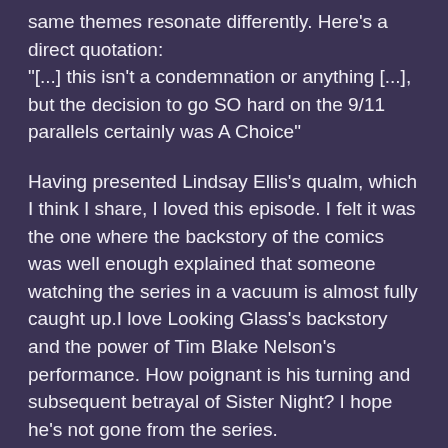same themes resonate differently. Here's a direct quotation: "[...] this isn't a condemnation or anything [...], but the decision to go SO hard on the 9/11 parallels certainly was A Choice"
Having presented Lindsay Ellis's qualm, which I think I share, I loved this episode. I felt it was the one where the backstory of the comics was well enough explained that someone watching the series in a vacuum is almost fully caught up.I love Looking Glass's backstory and the power of Tim Blake Nelson's performance. How poignant is his turning and subsequent betrayal of Sister Night? I hope he's not gone from the series.
What feels off is the conspiracy reveal video. Not its existence: we know Veidt's a megalomaniacal psychopath, so making the video is not at all out-of-character for him, but how the hell hasn't it been leaked already? If Junior Senator Keene can get a copy, would he have been the first?